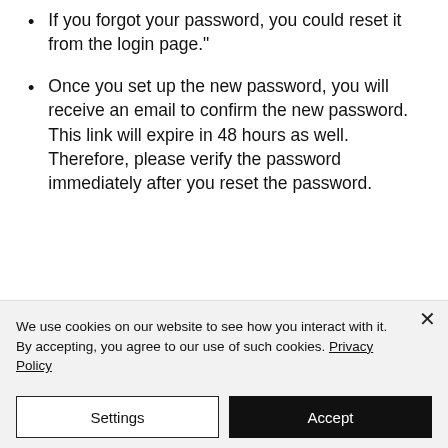If you forgot your password, you could reset it from the login page."
Once you set up the new password, you will receive an email to confirm the new password. This link will expire in 48 hours as well. Therefore, please verify the password immediately after you reset the password.
We use cookies on our website to see how you interact with it. By accepting, you agree to our use of such cookies. Privacy Policy